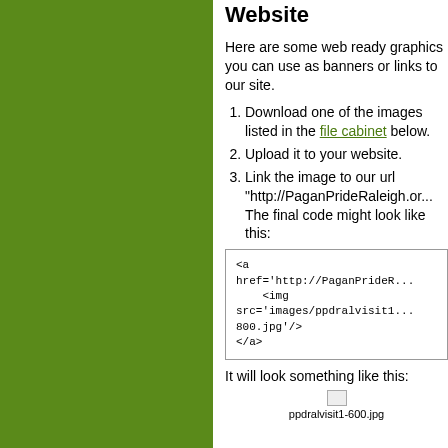Website
Here are some web ready graphics you can use as banners or links to our site.
Download one of the images listed in the file cabinet below.
Upload it to your website.
Link the image to our url "http://PaganPrideRaleigh.or... The final code might look like this:
<a href='http://PaganPrideR...
    <img src='images/ppdralvisit1...
800.jpg'/>
</a>
It will look something like this:
[Figure (photo): Placeholder image: ppdralvisit1-600.jpg]